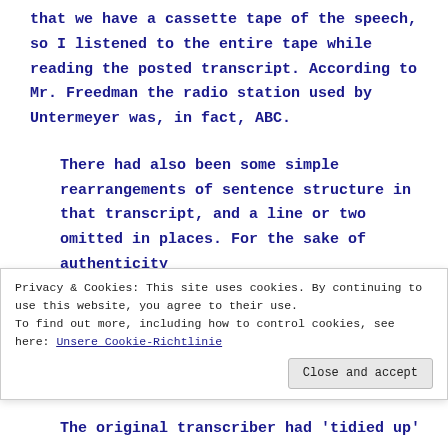that we have a cassette tape of the speech, so I listened to the entire tape while reading the posted transcript. According to Mr. Freedman the radio station used by Untermeyer was, in fact, ABC.
There had also been some simple rearrangements of sentence structure in that transcript, and a line or two omitted in places. For the sake of authenticity
Privacy & Cookies: This site uses cookies. By continuing to use this website, you agree to their use. To find out more, including how to control cookies, see here: Unsere Cookie-Richtlinie
Close and accept
The original transcriber had 'tidied up'